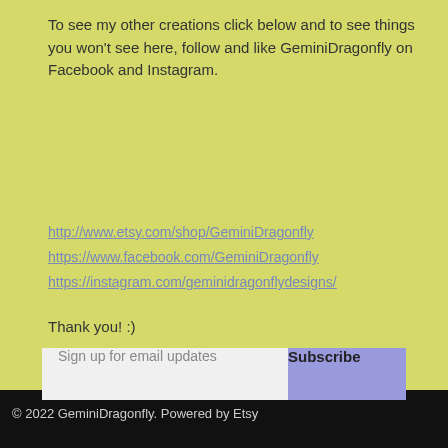To see my other creations click below and to see things you won't see here, follow and like GeminiDragonfly on Facebook and Instagram.
http://www.etsy.com/shop/GeminiDragonfly
https://www.facebook.com/GeminiDragonfly
https://instagram.com/geminidragonflydesigns/
Thank you! :)
Sign up for email updates
Subscribe
© 2022 GeminiDragonfly. Powered by Etsy